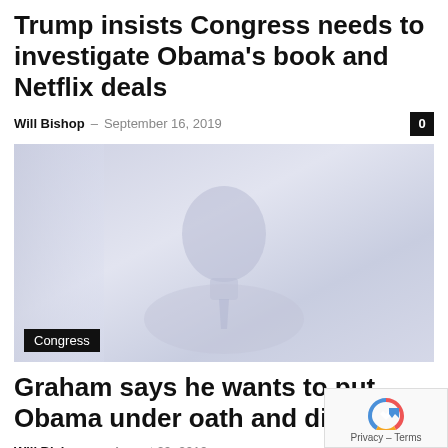Trump insists Congress needs to investigate Obama's book and Netflix deals
Will Bishop – September 16, 2019
[Figure (photo): Washed-out photo of a person in a suit, likely Barack Obama, with a Congress label tag in the lower left corner]
Congress
Graham says he wants to put Obama under oath and discuss...
Will Bishop – August 29, 2019